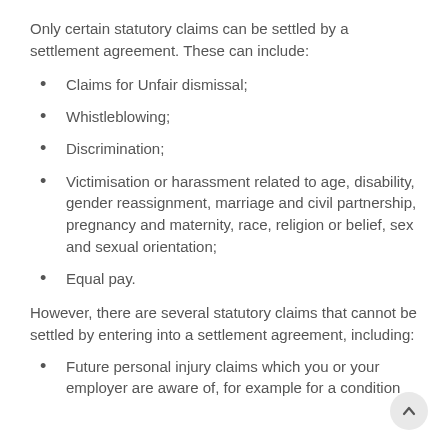Only certain statutory claims can be settled by a settlement agreement. These can include:
Claims for Unfair dismissal;
Whistleblowing;
Discrimination;
Victimisation or harassment related to age, disability, gender reassignment, marriage and civil partnership, pregnancy and maternity, race, religion or belief, sex and sexual orientation;
Equal pay.
However, there are several statutory claims that cannot be settled by entering into a settlement agreement, including:
Future personal injury claims which you or your employer are aware of, for example for a condition